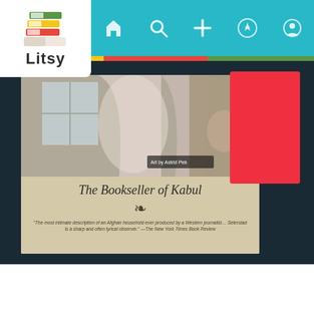[Figure (screenshot): Litsy app screenshot showing a photo of 'The Bookseller of Kabul' book with a red folder/envelope on a dark fabric background, with app navigation bar at top]
Starting this tonight for #round7 of #lmpbc. #nfnov
Clwojick, REPollock, jb72, Sbk89, rsteve388
jb72 — Cool 😊 I'm starting my book this weekend. 3y